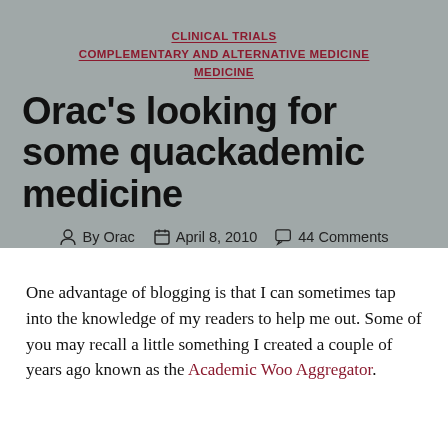CLINICAL TRIALS
COMPLEMENTARY AND ALTERNATIVE MEDICINE
MEDICINE
Orac's looking for some quackademic medicine
By Orac   April 8, 2010   44 Comments
One advantage of blogging is that I can sometimes tap into the knowledge of my readers to help me out. Some of you may recall a little something I created a couple of years ago known as the Academic Woo Aggregator.